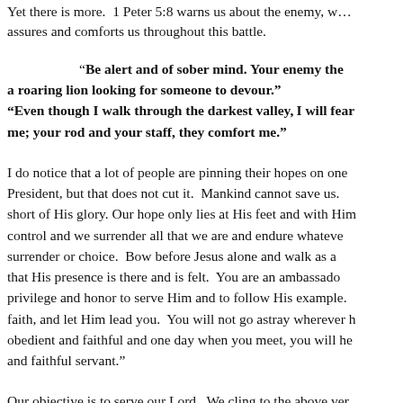Yet there is more. 1 Peter 5:8 warns us about the enemy, w... assures and comforts us throughout this battle.
“Be alert and of sober mind. Your enemy the devil prowls around like a roaring lion looking for someone to devour.” “Even though I walk through the darkest valley, I will fear no evil, for you are with me; your rod and your staff, they comfort me.”
I do notice that a lot of people are pinning their hopes on one President, but that does not cut it. Mankind cannot save us. short of His glory. Our hope only lies at His feet and with Him control and we surrender all that we are and endure whatever surrender or choice. Bow before Jesus alone and walk as a that His presence is there and is felt. You are an ambassado privilege and honor to serve Him and to follow His example. faith, and let Him lead you. You will not go astray wherever h obedient and faithful and one day when you meet, you will he and faithful servant.”
Our objective is to serve our Lord. We cling to the above ve...